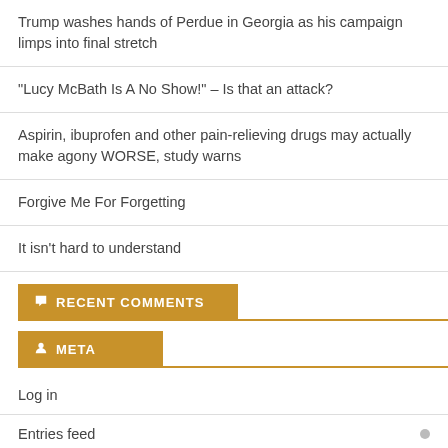Trump washes hands of Perdue in Georgia as his campaign limps into final stretch
“Lucy McBath Is A No Show!” – Is that an attack?
Aspirin, ibuprofen and other pain-relieving drugs may actually make agony WORSE, study warns
Forgive Me For Forgetting
It isn’t hard to understand
RECENT COMMENTS
META
Log in
Entries feed